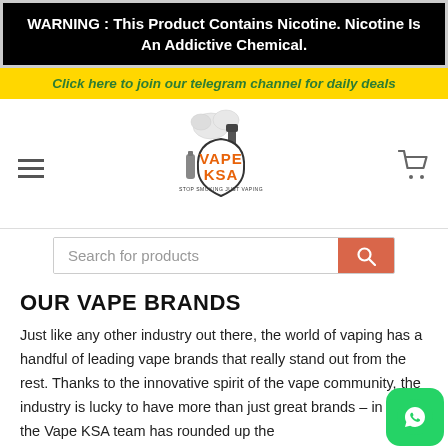WARNING : This Product Contains Nicotine. Nicotine Is An Addictive Chemical.
Click here to join our telegram channel for daily deals
[Figure (logo): Vape KSA logo with orange text and vape device illustration, tagline: Stop Smoking Just Vaping]
Search for products
OUR VAPE BRANDS
Just like any other industry out there, the world of vaping has a handful of leading vape brands that really stand out from the rest. Thanks to the innovative spirit of the vape community, the industry is lucky to have more than just great brands – in fact, the Vape KSA team has rounded up the